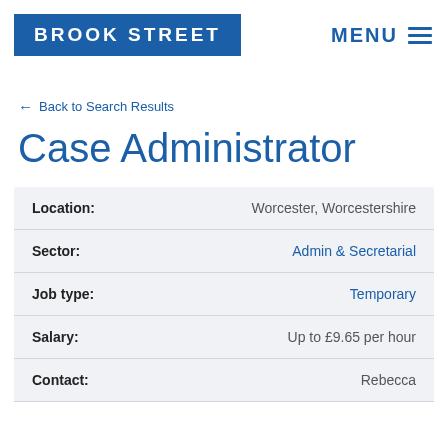BROOK STREET | MENU
← Back to Search Results
Case Administrator
| Field | Value |
| --- | --- |
| Location: | Worcester, Worcestershire |
| Sector: | Admin & Secretarial |
| Job type: | Temporary |
| Salary: | Up to £9.65 per hour |
| Contact: | Rebecca |